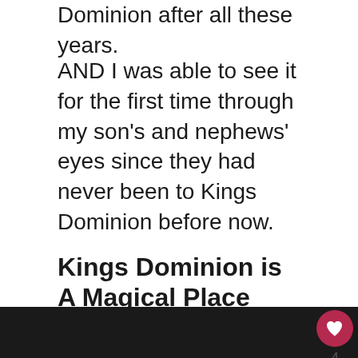Dominion after all these years.
AND I was able to see it for the first time through my son’s and nephews’ eyes since they had never been to Kings Dominion before now.
Kings Dominion is A Magical Place
With it being only a 2 hour trip each way, it is the ideal day trip excursion.
We happened to pick THE perfect day, a